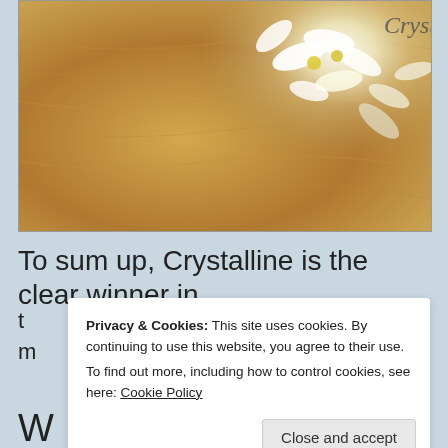[Figure (photo): Close-up photograph of white and yellow flowers resting on a warm golden/wooden surface, with a partially visible label reading 'Cryst' in the upper right corner.]
To sum up, Crystalline is the clear winner in
t
m
Privacy & Cookies: This site uses cookies. By continuing to use this website, you agree to their use.
To find out more, including how to control cookies, see here: Cookie Policy
Close and accept
W
i